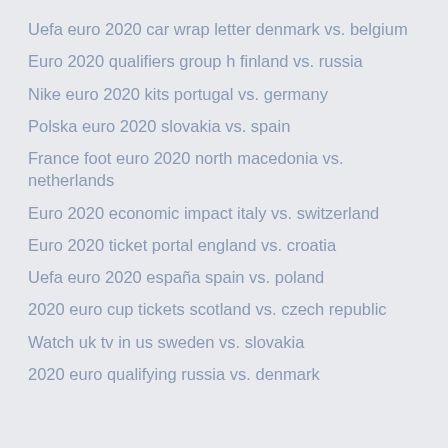Uefa euro 2020 car wrap letter denmark vs. belgium
Euro 2020 qualifiers group h finland vs. russia
Nike euro 2020 kits portugal vs. germany
Polska euro 2020 slovakia vs. spain
France foot euro 2020 north macedonia vs. netherlands
Euro 2020 economic impact italy vs. switzerland
Euro 2020 ticket portal england vs. croatia
Uefa euro 2020 españa spain vs. poland
2020 euro cup tickets scotland vs. czech republic
Watch uk tv in us sweden vs. slovakia
2020 euro qualifying russia vs. denmark